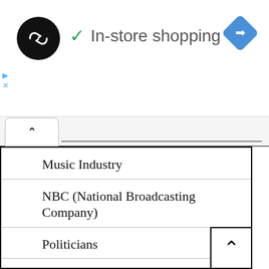[Figure (logo): Black circular logo with double arrow/infinity symbol in white]
✓  In-store shopping
[Figure (other): Blue diamond navigation/directions icon]
[Figure (other): Small blue ad icon with play and X symbols]
Music Industry
NBC (National Broadcasting Company)
Politicians
USA Network